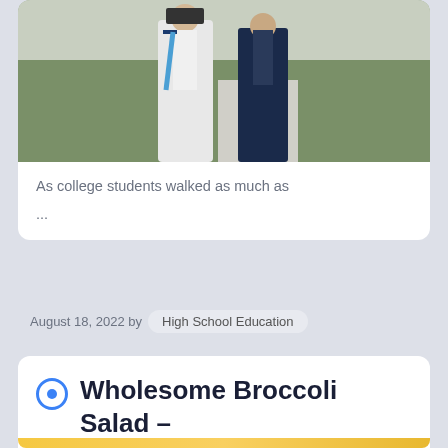[Figure (photo): Two people standing outdoors in graduation or formal attire, with grass and a walkway visible in the background]
As college students walked as much as
...
August 18, 2022 by  High School Education
Wholesome Broccoli Salad – Eat Your self Skinny
[Figure (photo): Food image, appears to show yellow/orange sliced citrus fruit]